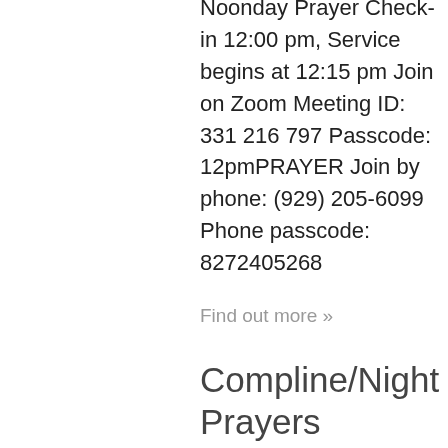Noonday Prayer Check-in 12:00 pm, Service begins at 12:15 pm Join on Zoom Meeting ID: 331 216 797 Passcode: 12pmPRAYER Join by phone: (929) 205-6099 Phone passcode: 8272405268
Find out more »
Compline/Night Prayers
| September 21 @ 8:15 pm - 9:00 pm | Recurring Event (See all) |
| Live on Zoom |  |
Compline/Night Prayers Check-in 8:15 pm, Service begins at 8:30 pm